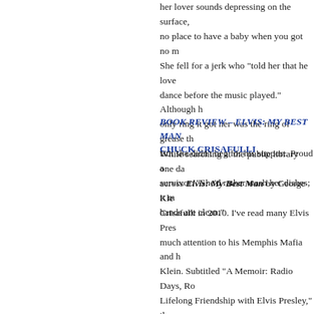her lover sounds depressing on the surface, no place to have a baby when you got no m She fell for a jerk who "told her that he love dance before the music played." Although h only ring it got her was the ring of grease th But she didn't beg for his support. Proud a survivor: "She'd rather wash her dishes; it m hands are clean."
BOOK REVIEW – ELVIS: MY BEST MAN CHUCK CRISAFULLI
While searching at the public library one da across Elvis: My Best Man by George Kle Crisafulli in 2010. I've read many Elvis Pres much attention to his Memphis Mafia and h Klein. Subtitled "A Memoir: Radio Days, Ro Lifelong Friendship with Elvis Presley," the read. It's an insider story written with respe aggrandizement or settling scores. George began their friendship in high school and pa wedding. George built his career in radio, a publication, he was hosting a show on Siriu writing this review, I tuned into Channel 19 behold, the show was titled Classic GK. Jus of the show, I heard his voice speak the line book: "The United States of America has ha only one King, and here he is to sing . . ."